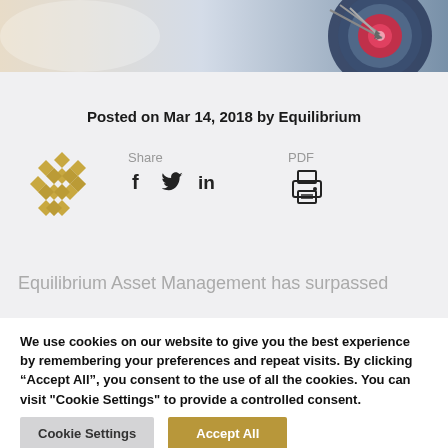[Figure (photo): Top banner image showing archery target with arrows, bullseye visible on right side]
Posted on Mar 14, 2018 by Equilibrium
[Figure (logo): Equilibrium company logo — golden geometric hexagon pattern]
Share
f (Facebook) Twitter LinkedIn
PDF (print icon)
Equilibrium Asset Management has surpassed
We use cookies on our website to give you the best experience by remembering your preferences and repeat visits. By clicking "Accept All", you consent to the use of all the cookies. You can visit "Cookie Settings" to provide a controlled consent.
Cookie Settings
Accept All